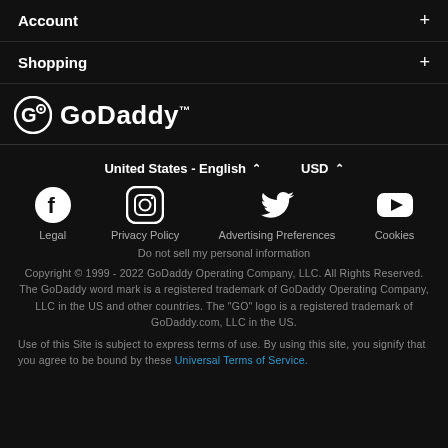Account +
Shopping +
[Figure (logo): GoDaddy logo with circular G icon and GoDaddy wordmark in white on dark background]
United States - English  ^     USD  ^
[Figure (infographic): Social media icons: Facebook, Instagram, Twitter, YouTube]
Legal    Privacy Policy    Advertising Preferences    Cookies
Do not sell my personal information
Copyright © 1999 - 2022 GoDaddy Operating Company, LLC. All Rights Reserved. The GoDaddy word mark is a registered trademark of GoDaddy Operating Company, LLC in the US and other countries. The "GO" logo is a registered trademark of GoDaddy.com, LLC in the US.
Use of this Site is subject to express terms of use. By using this site, you signify that you agree to be bound by these Universal Terms of Service.